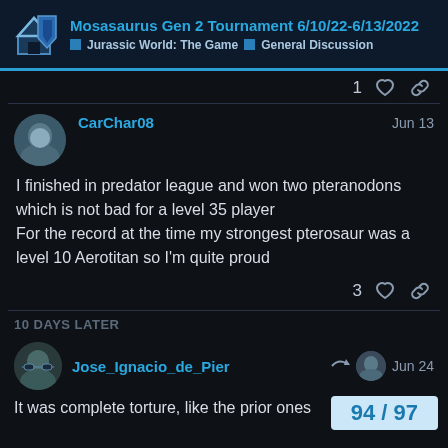Mosasaurus Gen 2 Tournament 6/10/22-6/13/2022 | Jurassic World: The Game | General Discussion
1
CarChar08 Jun 13
I finished in predator league and won two pteranodons which is not bad for a level 35 player
For the record at the time my strongest pterosaur was a level 10 Aerotitan so I'm quite proud
3
10 DAYS LATER
Jose_Ignacio_de_Pier Jun 24
It was complete torture, like the prior ones
94 / 97